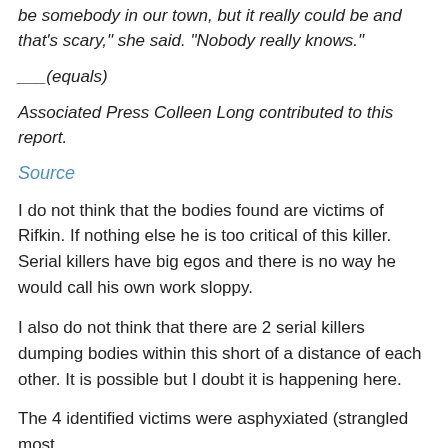be somebody in our town, but it really could be and that's scary," she said. "Nobody really knows."
___(equals)
Associated Press Colleen Long contributed to this report.
Source
I do not think that the bodies found are victims of Rifkin. If nothing else he is too critical of this killer. Serial killers have big egos and there is no way he would call his own work sloppy.
I also do not think that there are 2 serial killers dumping bodies within this short of a distance of each other. It is possible but I doubt it is happening here.
The 4 identified victims were asphyxiated (strangled most